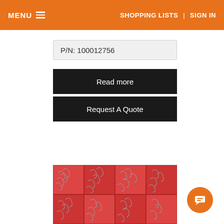MENU | SHOPPING LISTS | SIGN IN
P/N: 100012756
Read more
Request A Quote
[Figure (photo): Product photo showing a red compartmentalized box containing assorted metal hooks/cotter pins]